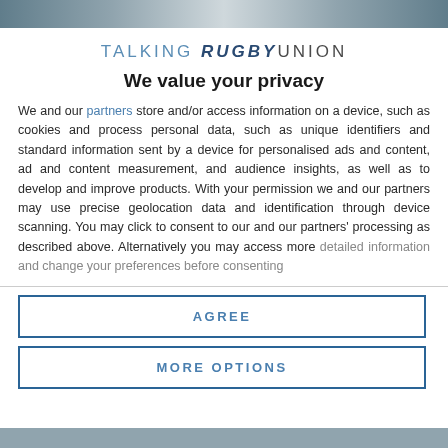[Figure (screenshot): Top banner image strip showing rugby-related content, partially obscured]
TALKING RUGBY UNION
We value your privacy
We and our partners store and/or access information on a device, such as cookies and process personal data, such as unique identifiers and standard information sent by a device for personalised ads and content, ad and content measurement, and audience insights, as well as to develop and improve products. With your permission we and our partners may use precise geolocation data and identification through device scanning. You may click to consent to our and our partners' processing as described above. Alternatively you may access more detailed information and change your preferences before consenting
AGREE
MORE OPTIONS